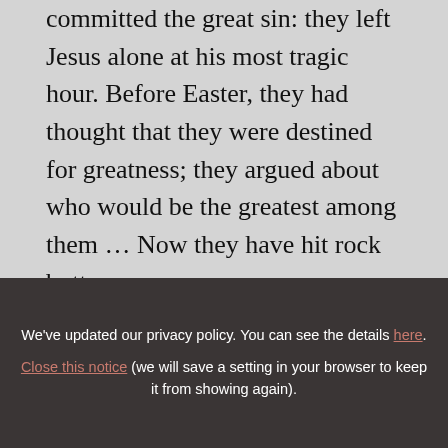committed the great sin: they left Jesus alone at his most tragic hour. Before Easter, they had thought that they were destined for greatness; they argued about who would be the greatest among them … Now they have hit rock bottom.

In this climate, they hear for the first time, "Peace be with you!" The disciples ought to have felt shame, yet they rejoice. Why? Because seeing his face and hearing his
We've updated our privacy policy. You can see the details here. Close this notice (we will save a setting in your browser to keep it from showing again).